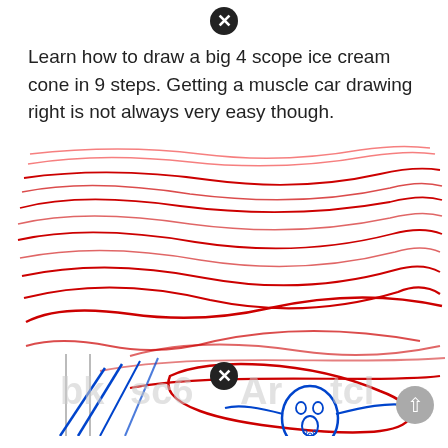[Figure (other): Close/cancel button icon (circle with X) at top center]
Learn how to draw a big 4 scope ice cream cone in 9 steps. Getting a muscle car drawing right is not always very easy though.
[Figure (illustration): Drawing tutorial illustration showing wavy red lines forming a swirling sky pattern (reminiscent of The Scream by Edvard Munch) with blue diagonal lines and a figure outline at the bottom. A watermark text is overlaid. A close button and scroll-up button are visible.]